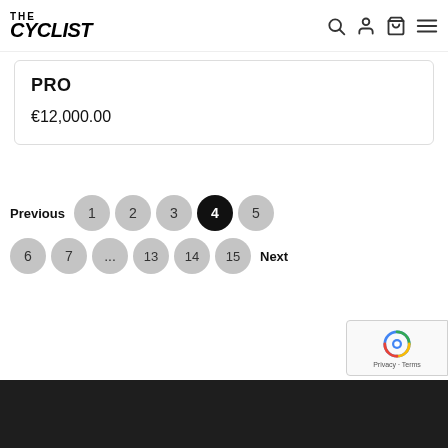THE CYCLIST
PRO
€12,000.00
Previous 1 2 3 4 5 6 7 ... 13 14 15 Next